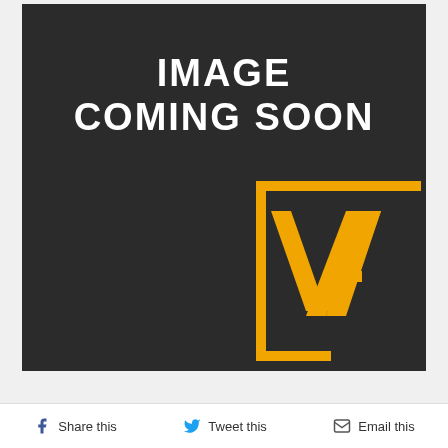[Figure (other): Dark grey/black background placeholder image with bold white text reading 'IMAGE COMING SOON' in the upper center, and a golden/amber VA logo (letter V and A inside a square bracket frame) in the lower right corner.]
Share this
Tweet this
Email this